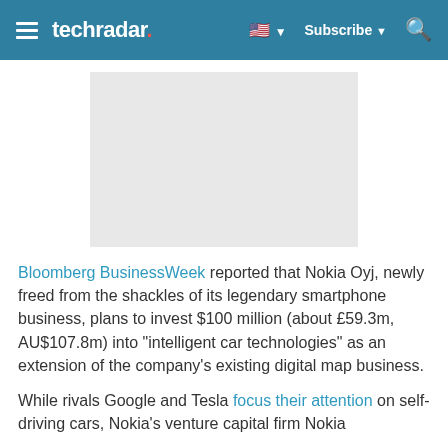techradar | Subscribe
[Figure (other): Gray advertisement placeholder rectangle]
Bloomberg BusinessWeek reported that Nokia Oyj, newly freed from the shackles of its legendary smartphone business, plans to invest $100 million (about £59.3m, AU$107.8m) into "intelligent car technologies" as an extension of the company's existing digital map business.
While rivals Google and Tesla focus their attention on self-driving cars, Nokia's venture capital firm Nokia